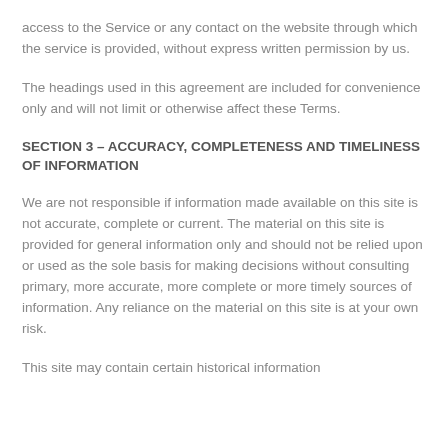access to the Service or any contact on the website through which the service is provided, without express written permission by us.
The headings used in this agreement are included for convenience only and will not limit or otherwise affect these Terms.
SECTION 3 – ACCURACY, COMPLETENESS AND TIMELINESS OF INFORMATION
We are not responsible if information made available on this site is not accurate, complete or current. The material on this site is provided for general information only and should not be relied upon or used as the sole basis for making decisions without consulting primary, more accurate, more complete or more timely sources of information. Any reliance on the material on this site is at your own risk.
This site may contain certain historical information